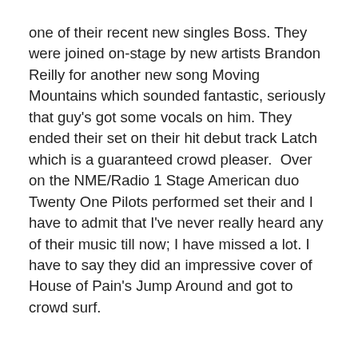one of their recent new singles Boss. They were joined on-stage by new artists Brandon Reilly for another new song Moving Mountains which sounded fantastic, seriously that guy's got some vocals on him. They ended their set on their hit debut track Latch which is a guaranteed crowd pleaser.  Over on the NME/Radio 1 Stage American duo Twenty One Pilots performed set their and I have to admit that I've never really heard any of their music till now; I have missed a lot. I have to say they did an impressive cover of House of Pain's Jump Around and got to crowd surf.
Though I've said it before I'll say it again; this is one reason why BBC3 was brilliant as a TV CHANNEL!!!